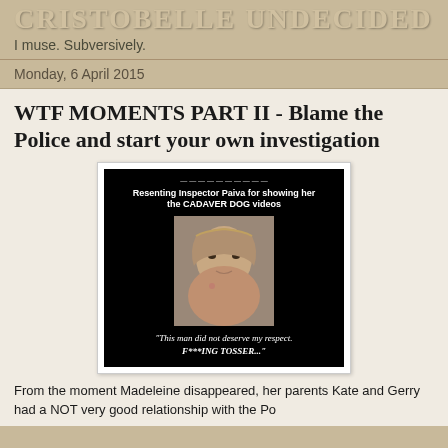CRISTOBELLE UNDECIDED
I muse. Subversively.
Monday, 6 April 2015
WTF MOMENTS PART II - Blame the Police and start your own investigation
[Figure (photo): A meme image with a black background. Top text reads 'Resenting Inspector Paiva for showing her the CADAVER DOG videos'. A photo of a woman (Kate McCann) is shown in the center. Bottom text in italic reads: "This man did not deserve my respect. F***ING TOSSER..."]
From the moment Madeleine disappeared, her parents Kate and Gerry had a NOT very good relationship with the Po...